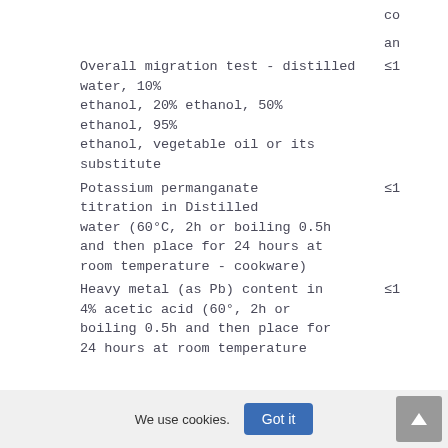| Description | Value |
| --- | --- |
| co |  |
| an |  |
| Overall migration test - distilled water, 10% ethanol, 20% ethanol, 50% ethanol, 95% ethanol, vegetable oil or its substitute | ≤1 |
| Potassium permanganate titration in Distilled water (60°C, 2h or boiling 0.5h and then place for 24 hours at room temperature - cookware) | ≤1 |
| Heavy metal (as Pb) content in 4% acetic acid (60°, 2h or boiling 0.5h and then place for 24 hours at room temperature | ≤1 |
We use cookies.
Got it